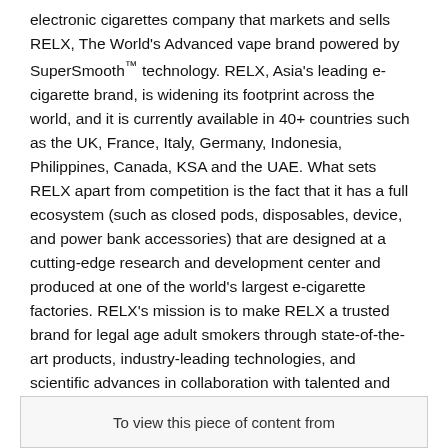electronic cigarettes company that markets and sells RELX, The World's Advanced vape brand powered by SuperSmooth™ technology. RELX, Asia's leading e-cigarette brand, is widening its footprint across the world, and it is currently available in 40+ countries such as the UK, France, Italy, Germany, Indonesia, Philippines, Canada, KSA and the UAE. What sets RELX apart from competition is the fact that it has a full ecosystem (such as closed pods, disposables, device, and power bank accessories) that are designed at a cutting-edge research and development center and produced at one of the world's largest e-cigarette factories. RELX's mission is to make RELX a trusted brand for legal age adult smokers through state-of-the-art products, industry-leading technologies, and scientific advances in collaboration with talented and committed people around the globe. The company has attracted global talents from Uber, Procter & Gamble, Apple, Beats, and L'Oréal. RELX is proud to be listed in Dubai Duty Free, the first duty free channel in the world.
To view this piece of content from